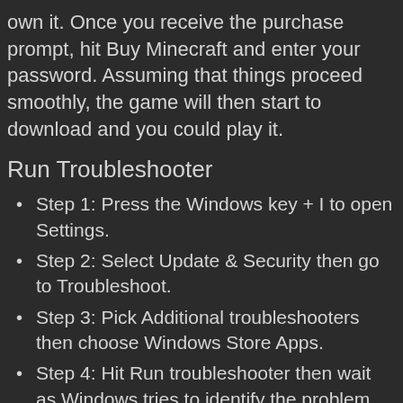own it. Once you receive the purchase prompt, hit Buy Minecraft and enter your password. Assuming that things proceed smoothly, the game will then start to download and you could play it.
Run Troubleshooter
Step 1: Press the Windows key + I to open Settings.
Step 2: Select Update & Security then go to Troubleshoot.
Step 3: Pick Additional troubleshooters then choose Windows Store Apps.
Step 4: Hit Run troubleshooter then wait as Windows tries to identify the problem.
Step 5: Once the problem has been identified, click Apply this fix.
Step 6: Restart your computer.